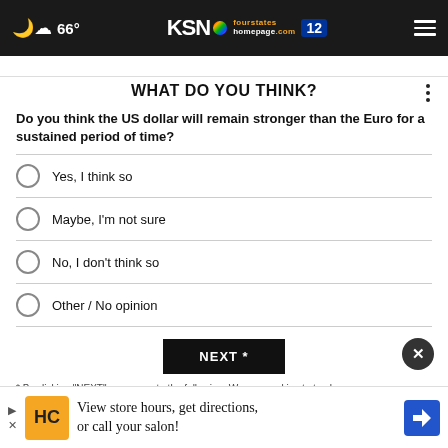☁ 66° | KSN fourstates homepage.com 12 | ≡
WHAT DO YOU THINK?
Do you think the US dollar will remain stronger than the Euro for a sustained period of time?
Yes, I think so
Maybe, I'm not sure
No, I don't think so
Other / No opinion
NEXT *
* By clicking "NEXT" you agree to the following: We use cookies to track your survey answers. If you would like to continue with this survey, please read...
[Figure (infographic): Advertisement banner: HC salon logo, text 'View store hours, get directions, or call your salon!' with navigation arrow icon]